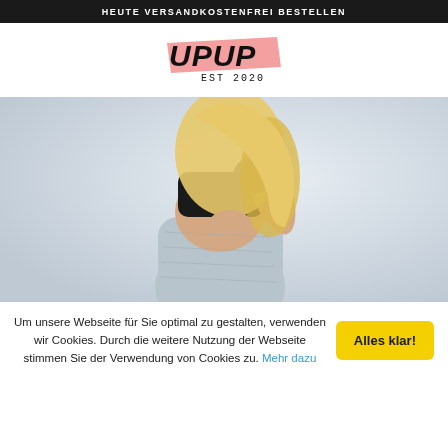HEUTE VERSANDKOSTENFREI BESTELLEN
[Figure (logo): UPUP EST 2020 brand logo with pink parallelogram accent behind bold black hand-lettered text]
[Figure (photo): A blonde woman wearing a black sports bra and light grey textured leggings, photographed from behind/side, posing against a light blue-grey background]
Um unsere Webseite für Sie optimal zu gestalten, verwenden wir Cookies. Durch die weitere Nutzung der Webseite stimmen Sie der Verwendung von Cookies zu. Mehr dazu
Alles klar!